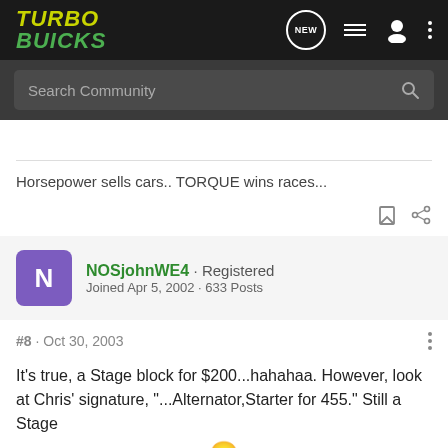TURBO BUICKS
Search Community
Horsepower sells cars.. TORQUE wins races...
NOSjohnWE4 · Registered
Joined Apr 5, 2002 · 633 Posts
#8 · Oct 30, 2003
It's true, a Stage block for $200...hahahaa. However, look at Chris' signature, "...Alternator,Starter for 455." Still a Stage